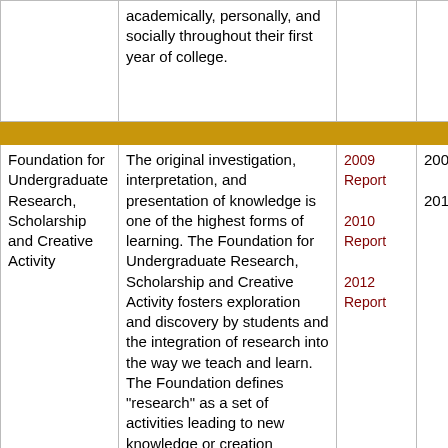|  | academically, personally, and socially throughout their first year of college. |  |  |
| [gold divider row] |  |  |  |
| Foundation for Undergraduate Research, Scholarship and Creative Activity | The original investigation, interpretation, and presentation of knowledge is one of the highest forms of learning. The Foundation for Undergraduate Research, Scholarship and Creative Activity fosters exploration and discovery by students and the integration of research into the way we teach and learn. The Foundation defines "research" as a set of activities leading to new knowledge or creation | 2009 Report
2010 Report
2012 Report | 2009
2010 |